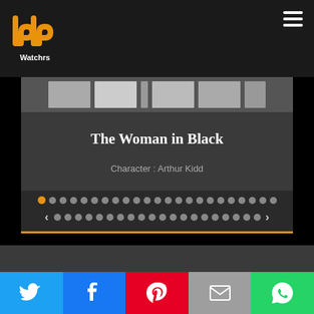[Figure (logo): PP Watchrs logo — two orange stylized P letters with 'Watchrs' text below in white]
[Figure (screenshot): Carousel card showing 'The Woman in Black' with character Arthur Kidd, with navigation dots and arrows below]
[Figure (infographic): Social share bar with Twitter, Facebook, Pinterest, Email, and WhatsApp buttons]